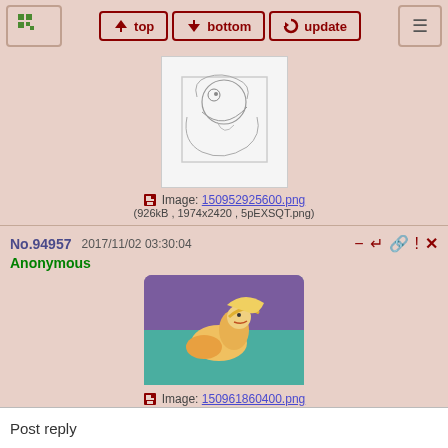top | bottom | update
[Figure (illustration): Partial sketch/line art illustration at top of page]
Image: 150952925600.png
(926kB , 1974x2420 , 5pEXSQT.png)
No.94957  2017/11/02 03:30:04
Anonymous
[Figure (illustration): Cartoon/animated characters on purple and teal background]
Image: 150961860400.png
(1.2MB , 2560x1440 , marcoa.png)
Replies: >>94958 >>94959
No.94958  2017/11/04 22:45:13
Anonymous
[Figure (illustration): Partially visible red-toned illustration at bottom]
Post reply